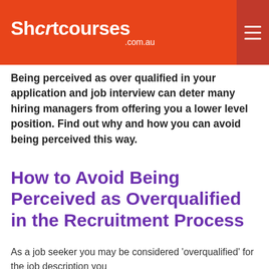Shortcourses.com.au
Being perceived as over qualified in your application and job interview can deter many hiring managers from offering you a lower level position. Find out why and how you can avoid being perceived this way.
How to Avoid Being Perceived as Overqualified in the Recruitment Process
As a job seeker you may be considered 'overqualified' for the job description you